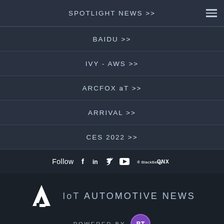SPOTLIGHT NEWS >>
BAIDU >>
IVY - AWS >>
ARCFOX aT >>
ARRIVAL >>
CES 2022 >>
Follow  f  in  [twitter]  [youtube]  BlackBerry QNX
[Figure (logo): IoT Automotive News logo with triangle A mark and 'POWERED BY BT' badge]